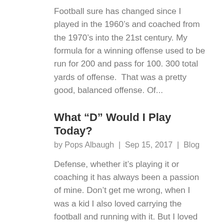Football sure has changed since I played in the 1960’s and coached from the 1970’s into the 21st century. My formula for a winning offense used to be run for 200 and pass for 100. 300 total yards of offense.  That was a pretty good, balanced offense. Of...
What "D" Would I Play Today?
by Pops Albaugh | Sep 15, 2017 | Blog
Defense, whether it’s playing it or coaching it has always been a passion of mine. Don’t get me wrong, when I was a kid I also loved carrying the football and running with it. But I loved playing defense. These days I don’t play any football, of...
One Great or Many Well?
by Pops Albaugh | Sep 1, 2017 | Blog